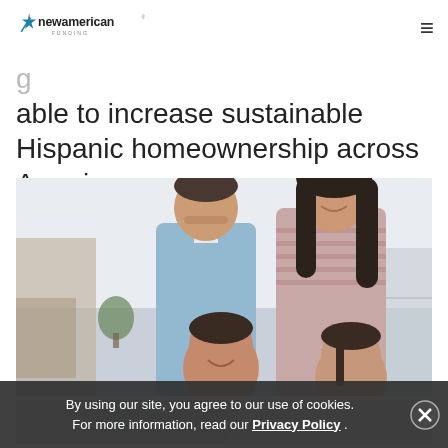New American Funding [logo]
able to increase sustainable Hispanic homeownership across America.
[Figure (photo): A Hispanic family of four — a man in a light blue shirt, a woman with long dark curly hair in a striped sweater, a young boy, and a young girl — smiling together in a bright home interior.]
[Figure (photo): Partial view of additional content below the main family photo.]
By using our site, you agree to our use of cookies. For more information, read our Privacy Policy .